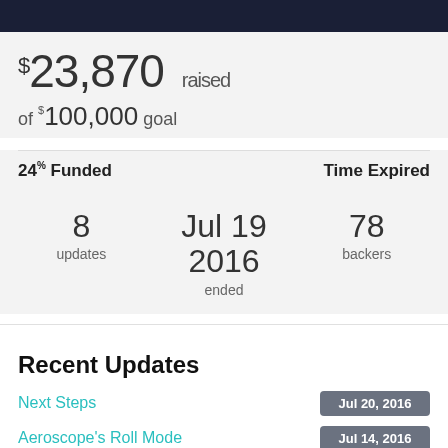$23,870 raised
of $100,000 goal
24% Funded
Time Expired
8 updates
Jul 19 2016 ended
78 backers
Recent Updates
Next Steps — Jul 20, 2016
Aeroscope's Roll Mode — Jul 14, 2016
Aeroscope's High-Speed Signal Performance — Jul 08, 2016
Pulse Trigger — Jun 30, 2016